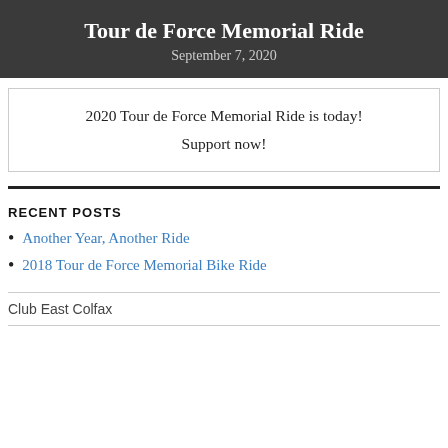Tour de Force Memorial Ride
September 7, 2020
2020 Tour de Force Memorial Ride is today!

Support now!
RECENT POSTS
Another Year, Another Ride
2018 Tour de Force Memorial Bike Ride
Club East Colfax